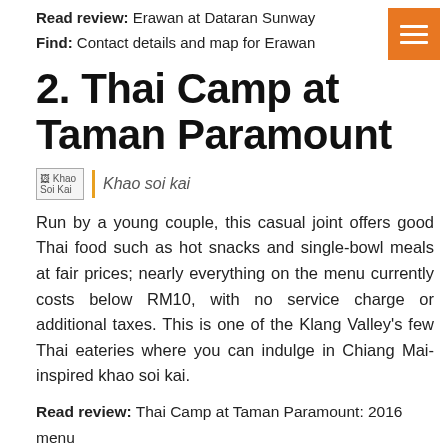Read review: Erawan at Dataran Sunway
Find: Contact details and map for Erawan
2. Thai Camp at Taman Paramount
[Figure (photo): Broken image placeholder labeled 'Khao Soi Kai' with italic caption text 'Khao soi kai']
Run by a young couple, this casual joint offers good Thai food such as hot snacks and single-bowl meals at fair prices; nearly everything on the menu currently costs below RM10, with no service charge or additional taxes. This is one of the Klang Valley's few Thai eateries where you can indulge in Chiang Mai-inspired khao soi kai.
Read review: Thai Camp at Taman Paramount: 2016 menu
Find: Contact details and map for Thai Camp
3. Tiffin's by Chef Kern